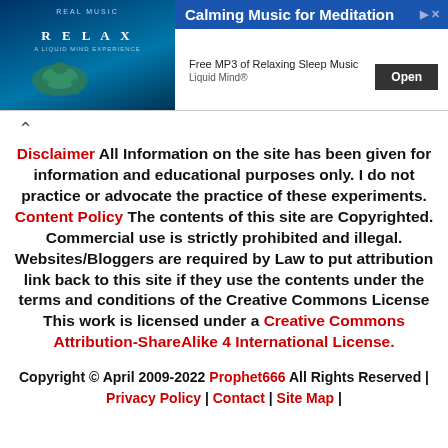[Figure (advertisement): Ad banner for Calming Music for Meditation - Relax album with turtle image, Free MP3 of Relaxing Sleep Music, Liquid Mind®, Open button]
Disclaimer All Information on the site has been given for information and educational purposes only. I do not practice or advocate the practice of these experiments. Content Policy The contents of this site are Copyrighted. Commercial use is strictly prohibited and illegal. Websites/Bloggers are required by Law to put attribution link back to this site if they use the contents under the terms and conditions of the Creative Commons License This work is licensed under a Creative Commons Attribution-ShareAlike 4 International License.
Copyright © April 2009-2022 Prophet666 All Rights Reserved | Privacy Policy | Contact | Site Map |